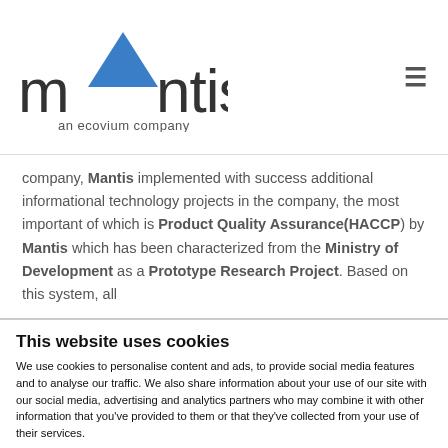[Figure (logo): Mantis logo with blue triangle replacing the letter A, text 'mantis' and subtitle 'an ecovium company']
company, Mantis implemented with success additional informational technology projects in the company, the most important of which is Product Quality Assurance(HACCP) by Mantis which has been characterized from the Ministry of Development as a Prototype Research Project. Based on this system, all
This website uses cookies
We use cookies to personalise content and ads, to provide social media features and to analyse our traffic. We also share information about your use of our site with our social media, advertising and analytics partners who may combine it with other information that you've provided to them or that they've collected from your use of their services.
Allow all cookies
Allow selection